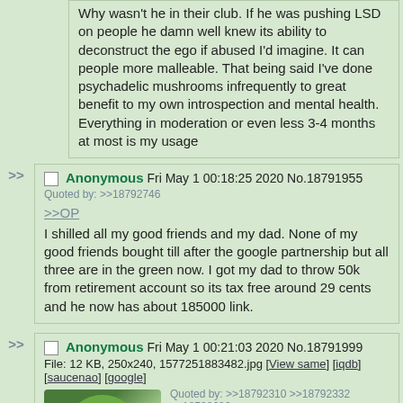Why wasn't he in their club. If he was pushing LSD on people he damn well knew its ability to deconstruct the ego if abused I'd imagine. It can people more malleable. That being said I've done psychadelic mushrooms infrequently to great benefit to my own introspection and mental health. Everything in moderation or even less 3-4 months at most is my usage
Anonymous Fri May 1 00:18:25 2020 No.18791955
Quoted by: >>18792746
>>OP
I shilled all my good friends and my dad. None of my good friends bought till after the google partnership but all three are in the green now. I got my dad to throw 50k from retirement account so its tax free around 29 cents and he now has about 185000 link.
Anonymous Fri May 1 00:21:03 2020 No.18791999
File: 12 KB, 250x240, 1577251883482.jpg [View same] [iqdb] [saucenao] [google]
Quoted by: >>18792310 >>18792332 >>18792696